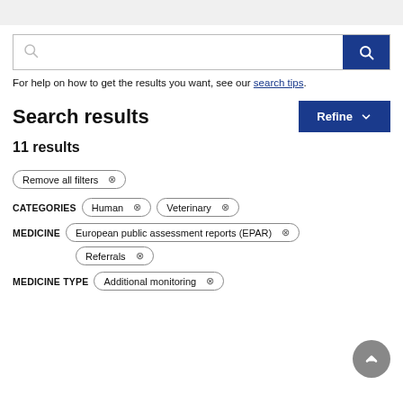[Figure (other): Search box with search icon button on the right (blue background)]
For help on how to get the results you want, see our search tips.
Search results
11 results
Remove all filters ⊗
CATEGORIES  Human ⊗  Veterinary ⊗
MEDICINE  European public assessment reports (EPAR) ⊗  Referrals ⊗
MEDICINE TYPE  Additional monitoring ⊗